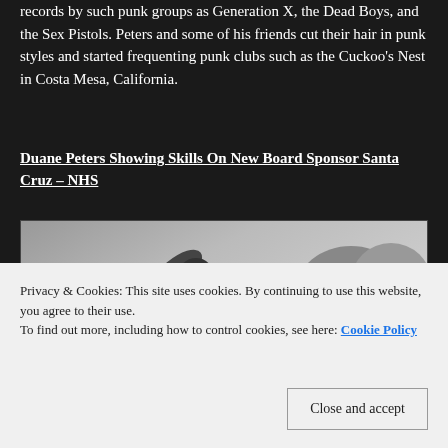records by such punk groups as Generation X, the Dead Boys, and the Sex Pistols. Peters and some of his friends cut their hair in punk styles and started frequenting punk clubs such as the Cuckoo's Nest in Costa Mesa, California.
Duane Peters Showing Skills On New Board Sponsor Santa Cruz – NHS
[Figure (photo): Black and white photograph of a skateboarder (Duane Peters) in mid-air performing a trick, leaning forward with arms outstretched.]
Privacy & Cookies: This site uses cookies. By continuing to use this website, you agree to their use.
To find out more, including how to control cookies, see here: Cookie Policy